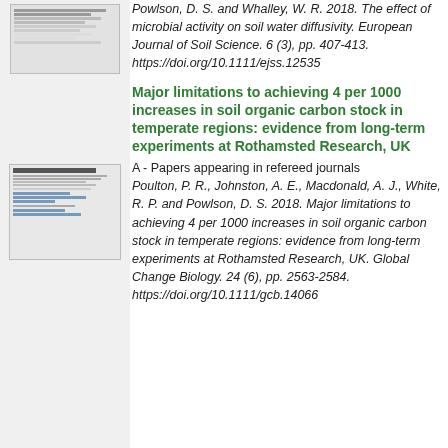[Figure (illustration): Thumbnail image of a document page at top left]
Powlson, D. S. and Whalley, W. R. 2018. The effect of microbial activity on soil water diffusivity. European Journal of Soil Science. 6 (3), pp. 407-413. https://doi.org/10.1111/ejss.12535
[Figure (illustration): Thumbnail image of a referenced journal article in the middle left]
Major limitations to achieving 4 per 1000 increases in soil organic carbon stock in temperate regions: evidence from long-term experiments at Rothamsted Research, UK
A - Papers appearing in refereed journals
Poulton, P. R., Johnston, A. E., Macdonald, A. J., White, R. P. and Powlson, D. S. 2018. Major limitations to achieving 4 per 1000 increases in soil organic carbon stock in temperate regions: evidence from long-term experiments at Rothamsted Research, UK. Global Change Biology. 24 (6), pp. 2563-2584. https://doi.org/10.1111/gcb.14066
[Figure (illustration): Small thumbnail image at bottom left]